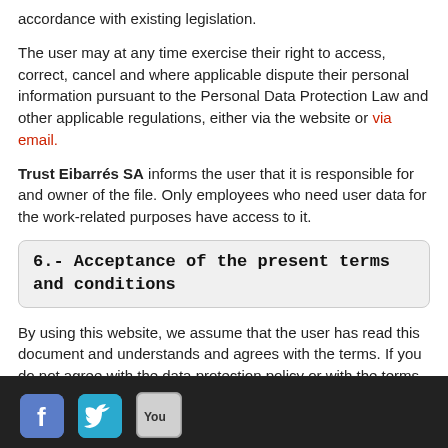accordance with existing legislation.
The user may at any time exercise their right to access, correct, cancel and where applicable dispute their personal information pursuant to the Personal Data Protection Law and other applicable regulations, either via the website or via email.
Trust Eibarrés SA informs the user that it is responsible for and owner of the file. Only employees who need user data for the work-related purposes have access to it.
6.- Acceptance of the present terms and conditions
By using this website, we assume that the user has read this document and understands and agrees with the terms. If you do not agree with the data protection policy or with the terms and conditions, please do not use our website. We reserve the right to modify the present terms of use whenever we deem it necessary.
Social media icons: Facebook, Twitter, YouTube